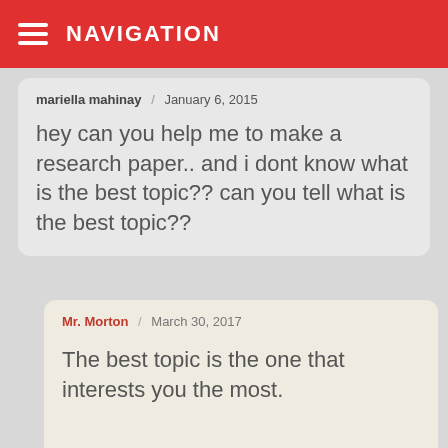NAVIGATION
mariella mahinay / January 6, 2015
hey can you help me to make a research paper.. and i dont know what is the best topic?? can you tell what is the best topic??
Mr. Morton / March 30, 2017
The best topic is the one that interests you the most.